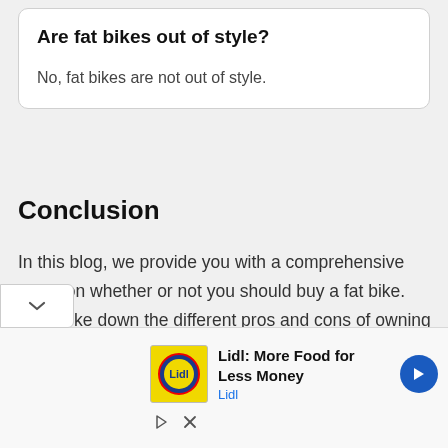Are fat bikes out of style?
No, fat bikes are not out of style.
Conclusion
In this blog, we provide you with a comprehensive guide on whether or not you should buy a fat bike. We broke down the different pros and cons of owning one. So, whether you're considering getting one for yourself, be sure to check out our
[Figure (other): Advertisement banner for Lidl: More Food for Less Money with Lidl logo and navigation arrow icon]